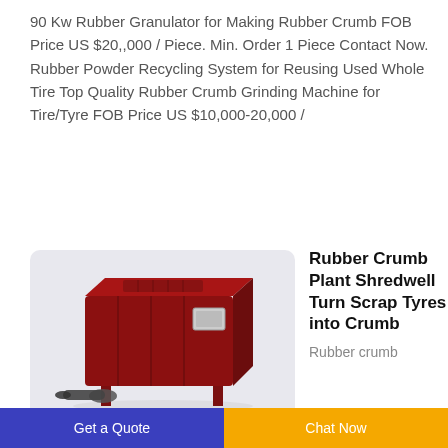90 Kw Rubber Granulator for Making Rubber Crumb FOB Price US $20,,000 / Piece. Min. Order 1 Piece Contact Now. Rubber Powder Recycling System for Reusing Used Whole Tire Top Quality Rubber Crumb Grinding Machine for Tire/Tyre FOB Price US $10,000-20,000 /
[Figure (photo): A red industrial rubber crumb granulator machine with legs and a chute, shown in 3D render against a light gray background.]
Rubber Crumb Plant Shredwell Turn Scrap Tyres into Crumb
Rubber crumb
Get a Quote
Chat Now